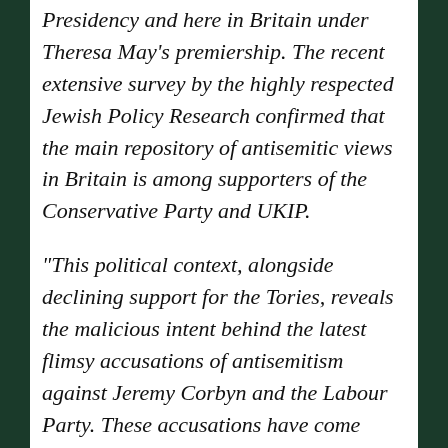Presidency and here in Britain under Theresa May's premiership. The recent extensive survey by the highly respected Jewish Policy Research confirmed that the main repository of antisemitic views in Britain is among supporters of the Conservative Party and UKIP.
“This political context, alongside declining support for the Tories, reveals the malicious intent behind the latest flimsy accusations of antisemitism against Jeremy Corbyn and the Labour Party. These accusations have come from the unrepresentative Board of Deputies and the unelected, self-proclaimed “Jewish Leadership Council”